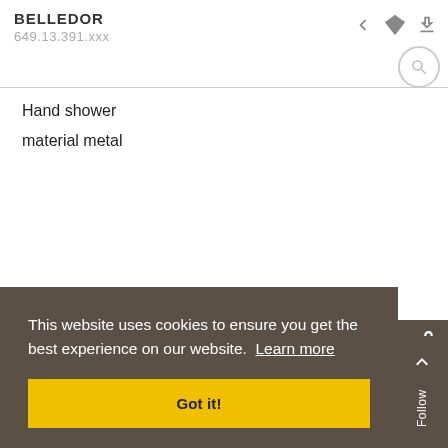BELLEDOR
649.13.391.xxx
Hand shower
material metal
PRODUCT DETAILS
Follow us
This website uses cookies to ensure you get the best experience on our website. Learn more
Got it!